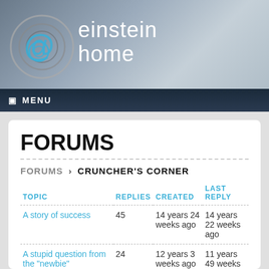einstein@home
MENU
FORUMS
FORUMS › CRUNCHER'S CORNER
| TOPIC | REPLIES | CREATED | LAST REPLY |
| --- | --- | --- | --- |
| A story of success | 45 | 14 years 24 weeks ago | 14 years 22 weeks ago |
| A stupid question from the "newbie" | 24 | 12 years 3 weeks ago | 11 years 49 weeks |